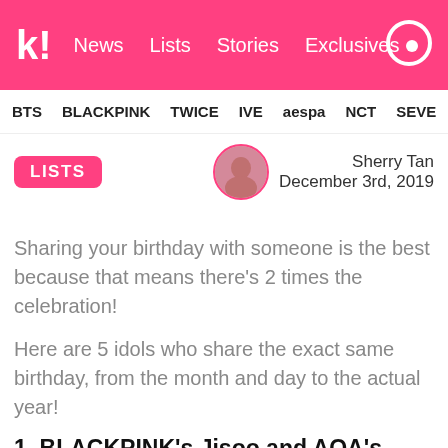k! News Lists Stories Exclusives
BTS BLACKPINK TWICE IVE aespa NCT SEVE
LISTS
Sherry Tan
December 3rd, 2019
Sharing your birthday with someone is the best because that means there’s 2 times the celebration!
Here are 5 idols who share the exact same birthday, from the month and day to the actual year!
1. BLACKPINK’s Jisoo and AOA’s Seolhyun